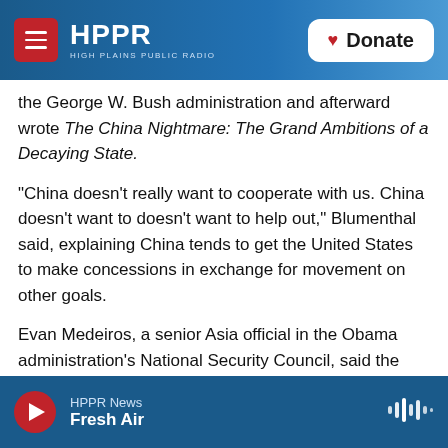HPPR HIGH PLAINS PUBLIC RADIO | Donate
the George W. Bush administration and afterward wrote The China Nightmare: The Grand Ambitions of a Decaying State.
"China doesn't really want to cooperate with us. China doesn't want to doesn't want to help out," Blumenthal said, explaining China tends to get the United States to make concessions in exchange for movement on other goals.
Evan Medeiros, a senior Asia official in the Obama administration's National Security Council, said the challenge for Biden will be to strike a balance
HPPR News | Fresh Air